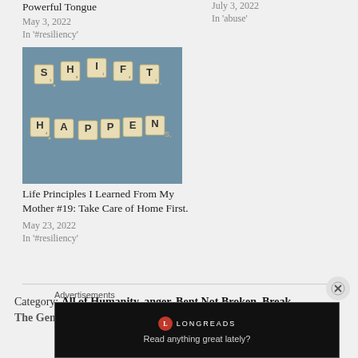Powerful Tongue
May 3, 2022
In '#resiliency'
July 3, 2022
In 'abuse'
[Figure (photo): Scrabble tiles arranged to spell 'SHIFT HAPPENS' on a blue-grey surface]
Life Principles I Learned From My Mother #19: Take Care of Home First.
May 23, 2022
In '#resiliency'
Category: All of Humanity, anger, Bent Not Broken, Break
The Generational Cycle of Being Child Casualties...